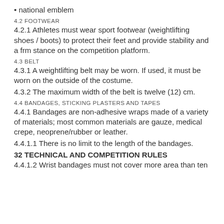• national emblem
4.2 FOOTWEAR
4.2.1 Athletes must wear sport footwear (weightlifting shoes / boots) to protect their feet and provide stability and a frm stance on the competition platform.
4.3 BELT
4.3.1 A weightlifting belt may be worn. If used, it must be worn on the outside of the costume.
4.3.2 The maximum width of the belt is twelve (12) cm.
4.4 BANDAGES, STICKING PLASTERS AND TAPES
4.4.1 Bandages are non-adhesive wraps made of a variety of materials; most common materials are gauze, medical crepe, neoprene/rubber or leather.
4.4.1.1 There is no limit to the length of the bandages.
32 TECHNICAL AND COMPETITION RULES
4.4.1.2 Wrist bandages must not cover more area than ten